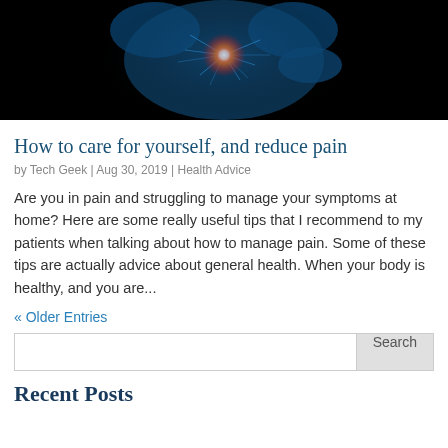[Figure (photo): Medical illustration of a human torso with a glowing red pain point on the chest/heart area, neural network-like blue light patterns on a dark/black background]
How to care for yourself, and reduce pain
by Tech Geek | Aug 30, 2019 | Health Advice
Are you in pain and struggling to manage your symptoms at home? Here are some really useful tips that I recommend to my patients when talking about how to manage pain. Some of these tips are actually advice about general health. When your body is healthy, and you are...
« Older Entries
Search
Recent Posts